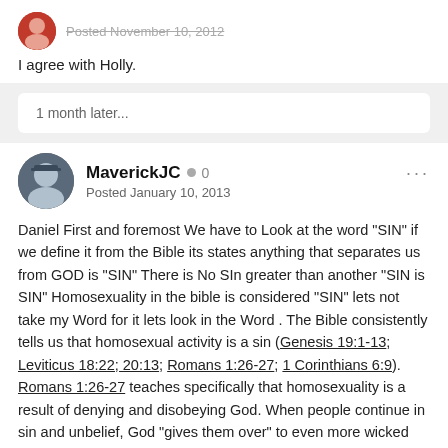I agree with Holly.
1 month later...
MaverickJC  0
Posted January 10, 2013
Daniel First and foremost We have to Look at the word "SIN" if we define it from the Bible its states anything that separates us from GOD is "SIN" There is No SIn greater than another "SIN is SIN" Homosexuality in the bible is considered "SIN" lets not take my Word for it lets look in the Word . The Bible consistently tells us that homosexual activity is a sin (Genesis 19:1-13; Leviticus 18:22; 20:13; Romans 1:26-27; 1 Corinthians 6:9). Romans 1:26-27 teaches specifically that homosexuality is a result of denying and disobeying God. When people continue in sin and unbelief, God "gives them over" to even more wicked and depraved sin in order to show them the futility and hopelessness of life apart from